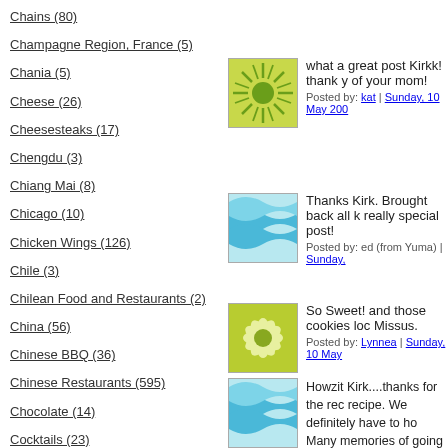Chains (80)
Champagne Region, France (5)
Chania (5)
Cheese (26)
Cheesesteaks (17)
Chengdu (3)
Chiang Mai (8)
Chicago (10)
Chicken Wings (126)
Chile (3)
Chilean Food and Restaurants (2)
China (56)
Chinese BBQ (36)
Chinese Restaurants (595)
Chocolate (14)
Cocktails (23)
Coimbra (5)
Colombian Food and Restaurants (5)
what a great post Kirkk! thank y of your mom!
Posted by: kat | Sunday, 10 May 200
Thanks Kirk. Brought back all k really special post!
Posted by: ed (from Yuma) | Sunday,
So Sweet! and those cookies loc Missus.
Posted by: Lynnea | Sunday, 10 May
Howzit Kirk....thanks for the rec recipe. We definitely have to ho Many memories of going to Sta to go with her and buy firecrack
Posted by: Jack | Sunday, 10 May 20